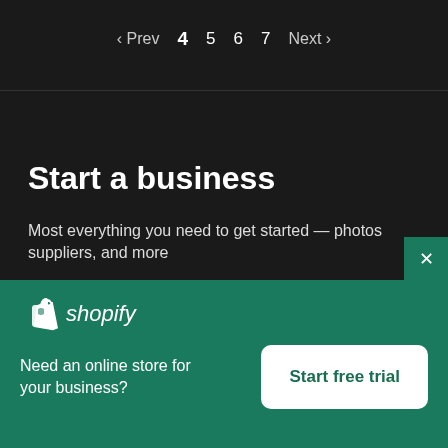‹ Prev  4  5  6  7  Next ›
Start a business
Most everything you need to get started — photos suppliers, and more
[Figure (logo): Shopify logo with shopping bag icon and italic shopify text]
Need an online store for your business?
Start free trial